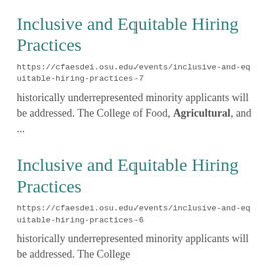Inclusive and Equitable Hiring Practices
https://cfaesdei.osu.edu/events/inclusive-and-equitable-hiring-practices-7
historically underrepresented minority applicants will be addressed. The College of Food, Agricultural, and ...
Inclusive and Equitable Hiring Practices
https://cfaesdei.osu.edu/events/inclusive-and-equitable-hiring-practices-6
historically underrepresented minority applicants will be addressed. The College